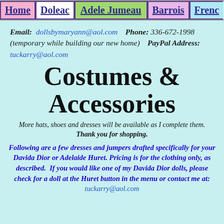Home | Doleac | Adele Jumeau | Barrois | Frenc...
Email: dollsbymaryann@aol.com   Phone: 336-672-1998 (temporary while building our new home)   PayPal Address: tuckarry@aol.com
Costumes & Accessories
More hats, shoes and dresses will be available as I complete them. Thank you for shopping.
Following are a few dresses and jumpers drafted specifically for your Davida Dior or Adelaide Huret. Pricing is for the clothing only, as described. If you would like one of my Davida Dior dolls, please check for a doll at the Huret button in the menu or contact me at: tuckarry@aol.com